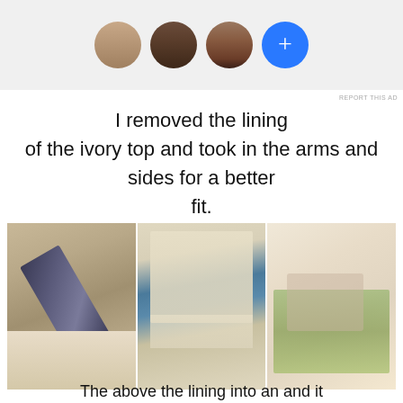[Figure (screenshot): Advertisement banner with three circular profile photo avatars (woman with light skin, woman with dark skin, man with medium-dark skin) and a blue circle with a white plus sign]
REPORT THIS AD
I removed the lining of the ivory top and took in the arms and sides for a better fit.
[Figure (photo): Three-panel photo strip showing sewing/tailoring work: left panel shows scissors cutting lace fabric, center panel shows pinned ivory lace fabric against blue background, right panel shows close-up of ivory/cream fabric near a craft mat with books and supplies]
The above the lining into an and it